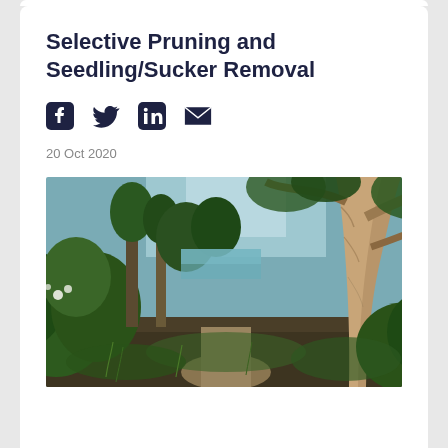Selective Pruning and Seedling/Sucker Removal
20 Oct 2020
[Figure (photo): Outdoor woodland scene with a large eucalyptus tree on the right, green shrubs and smaller trees on the left, a dirt path through the middle, and a glimpse of water/sky in the background.]